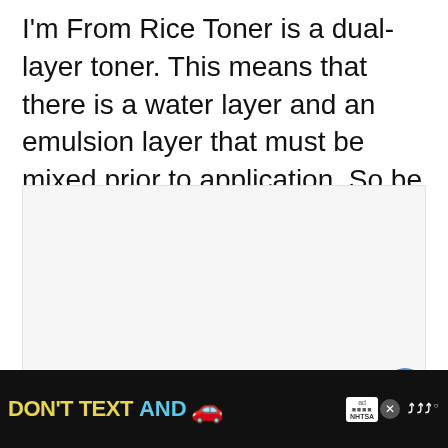I'm From Rice Toner is a dual-layer toner. This means that there is a water layer and an emulsion layer that must be mixed prior to application. So be sure to shake the bottle well before applying.
[Figure (photo): Large image area placeholder (product image), with heart/favorite button and share button overlaid on the right side, and a 'What's Next' recommendation card in the bottom right corner.]
[Figure (screenshot): Advertisement banner at the bottom: black background with yellow text 'DON'T TEXT' and cyan text 'AND', a red car emoji, NHTSA ad badge with close button, and brand logo on the right.]